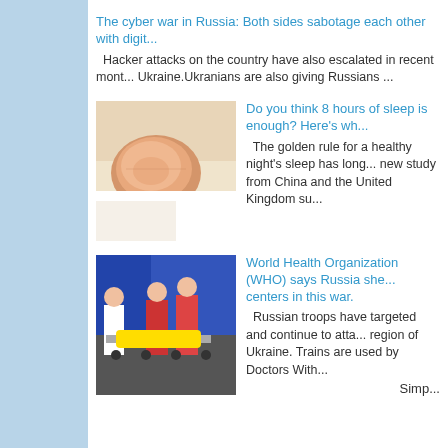The cyber war in Russia: Both sides sabotage each other with digit...
Hacker attacks on the country have also escalated in recent months... Ukraine.Ukranians are also giving Russians ...
[Figure (photo): Person sleeping, close-up of face on pillow]
Do you think 8 hours of sleep is enough? Here's wh...
The golden rule for a healthy night's sleep has long... new study from China and the United Kingdom su...
[Figure (photo): Medical workers in red uniforms carrying a patient on a stretcher]
World Health Organization (WHO) says Russia she... centers in this war.
Russian troops have targeted and continue to atta... region of Ukraine. Trains are used by Doctors With...
Simp...